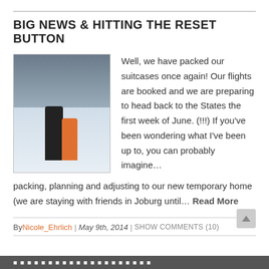BIG NEWS & HITTING THE RESET BUTTON
[Figure (photo): Photo of two people (a tall man and shorter woman/child) hugging at what appears to be an ice skating rink]
Well, we have packed our suitcases once again! Our flights are booked and we are preparing to head back to the States the first week of June. (!!!) If you've been wondering what I've been up to, you can probably imagine… packing, planning and adjusting to our new temporary home (we are staying with friends in Joburg until… Read More
By Nicole_Ehrlich | May 9th, 2014 | SHOW COMMENTS (10)